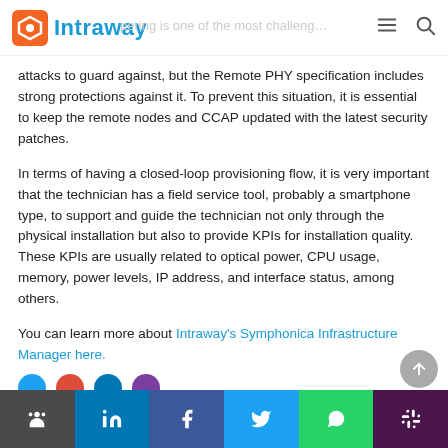Intraway
attacks to guard against, but the Remote PHY specification includes strong protections against it. To prevent this situation, it is essential to keep the remote nodes and CCAP updated with the latest security patches.
In terms of having a closed-loop provisioning flow, it is very important that the technician has a field service tool, probably a smartphone type, to support and guide the technician not only through the physical installation but also to provide KPIs for installation quality. These KPIs are usually related to optical power, CPU usage, memory, power levels, IP address, and interface status, among others.
You can learn more about Intraway's Symphonica Infrastructure Manager here.
Social share bar: link, LinkedIn, Facebook, Twitter, WhatsApp, Slack